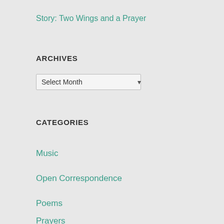Story: Two Wings and a Prayer
ARCHIVES
Select Month
CATEGORIES
Music
Open Correspondence
Poems
Prayers